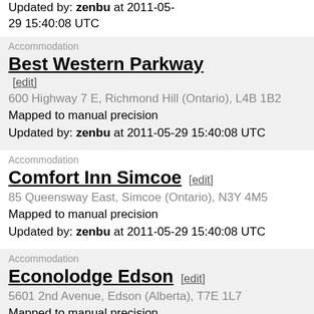Updated by: zenbu at 2011-05-29 15:40:08 UTC
Accommodation
Best Western Parkway
[edit]
600 Highway 7 E, Richmond Hill (Ontario), L4B 1B2
Mapped to manual precision
Updated by: zenbu at 2011-05-29 15:40:08 UTC
Accommodation
Comfort Inn Simcoe [edit]
85 Queensway East, Simcoe (Ontario), N3Y 4M5
Mapped to manual precision
Updated by: zenbu at 2011-05-29 15:40:08 UTC
Accommodation
Econolodge Edson [edit]
5601 2nd Avenue, Edson (Alberta), T7E 1L7
Mapped to manual precision
Updated by: zenbu at 2011-05-29 15:40:08 UTC